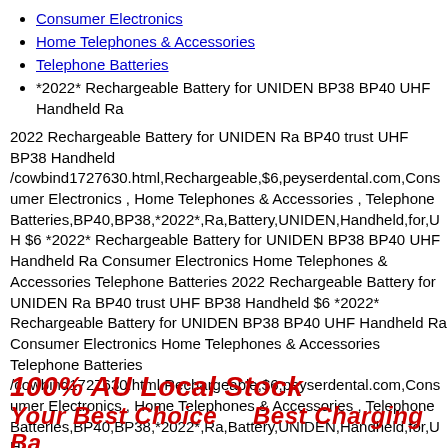Consumer Electronics
Home Telephones & Accessories
Telephone Batteries
*2022* Rechargeable Battery for UNIDEN BP38 BP40 UHF Handheld Ra
2022 Rechargeable Battery for UNIDEN Ra BP40 trust UHF BP38 Handheld /cowbind1727630.html,Rechargeable,$6,peyserdental.com,Consumer Electronics , Home Telephones & Accessories , Telephone Batteries,BP40,BP38,*2022*,Ra,Battery,UNIDEN,Handheld,for,UH $6 *2022* Rechargeable Battery for UNIDEN BP38 BP40 UHF Handheld Ra Consumer Electronics Home Telephones & Accessories Telephone Batteries 2022 Rechargeable Battery for UNIDEN Ra BP40 trust UHF BP38 Handheld $6 *2022* Rechargeable Battery for UNIDEN BP38 BP40 UHF Handheld Ra Consumer Electronics Home Telephones & Accessories Telephone Batteries /cowbind1727630.html,Rechargeable,$6,peyserdental.com,Consumer Electronics , Home Telephones & Accessories , Telephone Batteries,BP40,BP38,*2022*,Ra,Battery,UNIDEN,Handheld,for,UH
[Figure (other): Red bold italic text banner reading '100% AU Local Stock' and 'Your Best Choice... Best Charging Batteries']